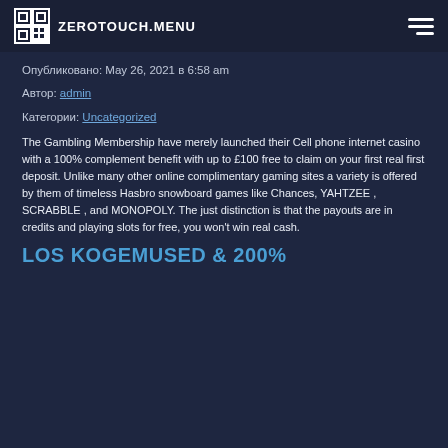ZEROTOUCH.MENU
Опубликовано: May 26, 2021 в 6:58 am
Автор: admin
Категории: Uncategorized
The Gambling Membership have merely launched their Cell phone internet casino with a 100% complement benefit with up to £100 free to claim on your first real first deposit. Unlike many other online complimentary gaming sites a variety is offered by them of timeless Hasbro snowboard games like Chances, YAHTZEE , SCRABBLE , and MONOPOLY. The just distinction is that the payouts are in credits and playing slots for free, you won't win real cash.
LOS KOGEMUSED & 200%